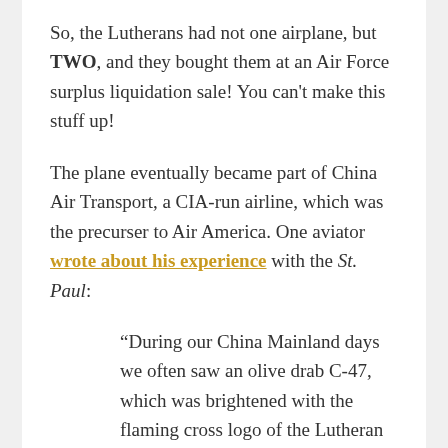So, the Lutherans had not one airplane, but TWO, and they bought them at an Air Force surplus liquidation sale! You can't make this stuff up!
The plane eventually became part of China Air Transport, a CIA-run airline, which was the precurser to Air America. One aviator wrote about his experience with the St. Paul:
“During our China Mainland days we often saw an olive drab C-47, which was brightened with the flaming cross logo of the Lutheran World Mission. Its name was